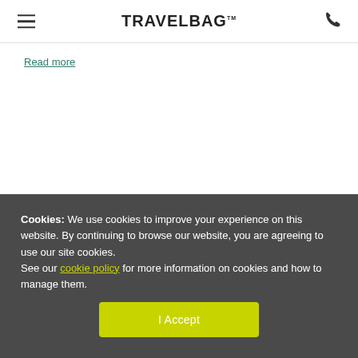TRAVELBAG
Read more
Cookies: We use cookies to improve your experience on this website. By continuing to browse our website, you are agreeing to use our site cookies. See our cookie policy for more information on cookies and how to manage them.
I Accept